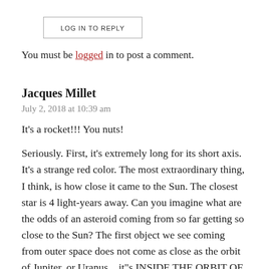LOG IN TO REPLY
You must be logged in to post a comment.
Jacques Millet
July 2, 2018 at 10:39 am
It's a rocket!!! You nuts!
Seriously. First, it's extremely long for its short axis. It's a strange red color. The most extraordinary thing, I think, is how close it came to the Sun. The closest star is 4 light-years away. Can you imagine what are the odds of an asteroid coming from so far getting so close to the Sun? The first object we see coming from outer space does not come as close as the orbit of Jupiter, or Uranus... it"s INSIDE THE ORBIT OF MERCURY!!! I can't understand how even